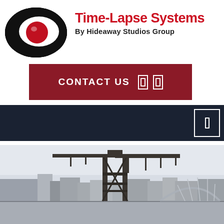[Figure (logo): Time-Lapse Systems logo: black eye/oval shape with red circle center and white highlight]
Time-Lapse Systems
By Hideaway Studios Group
[Figure (other): Dark red CONTACT US button with two white rectangle phone/device icons]
[Figure (other): Dark navy navigation bar with a white outlined rectangle icon on the right side]
[Figure (photo): Photo of a city waterfront with a large industrial crane (Finnieston Crane, Glasgow), buildings, and an arch bridge in the background under a pale sky]